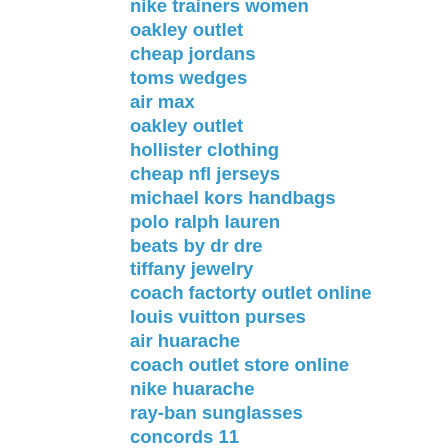nike trainers women
oakley outlet
cheap jordans
toms wedges
air max
oakley outlet
hollister clothing
cheap nfl jerseys
michael kors handbags
polo ralph lauren
beats by dr dre
tiffany jewelry
coach factorty outlet online
louis vuitton purses
air huarache
coach outlet store online
nike huarache
ray-ban sunglasses
concords 11
nike store
louboutin
true religion outlet
adidas running shoes